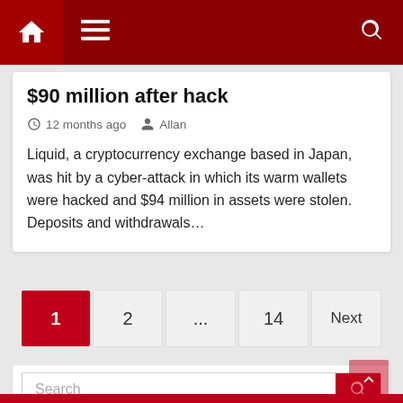Navigation bar with home, menu, and search icons
$90 million after hack
12 months ago   Allan
Liquid, a cryptocurrency exchange based in Japan, was hit by a cyber-attack in which its warm wallets were hacked and $94 million in assets were stolen.   Deposits and withdrawals…
Pagination: 1  2  ...  14  Next
Search